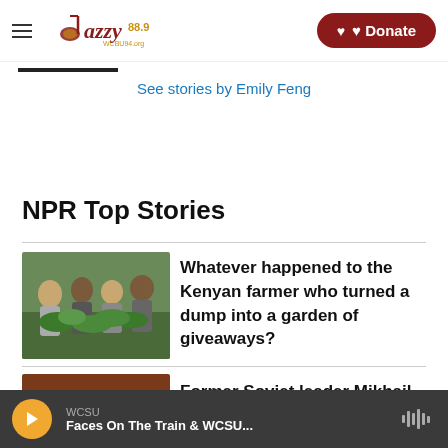Jazzy 88.9 | Donate
See stories by Emily Feng
NPR Top Stories
[Figure (photo): Group of young people holding leafy green vegetables in a garden]
Whatever happened to the Kenyan farmer who turned a dump into a garden of giveaways?
[Figure (photo): Dark reddish-brown textile with yellow cactus-like patterns]
Former Soviet leader Mikhail
WCSU — Faces On The Train & WCSU...